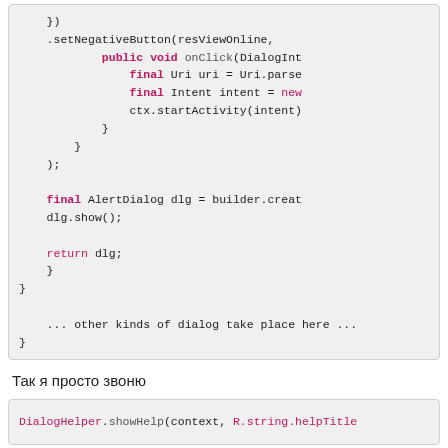[Figure (screenshot): Code block showing Java/Android code with syntax highlighting: setNegativeButton, onClick, Uri.parse, Intent, ctx.startActivity, AlertDialog builder, dlg.show(), return dlg, closing braces, and comment '... other kinds of dialog take place here ...']
Так я просто звоню
[Figure (screenshot): Inline code block: DialogHelper.showHelp(context, R.string.helpTitle]
Из всех моих приложений. Это много параметров, но это работоспособно.